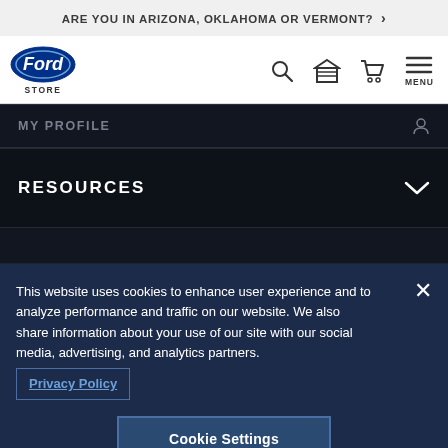ARE YOU IN ARIZONA, OKLAHOMA OR VERMONT? >
[Figure (logo): Ford Store logo - Ford oval blue logo with STORE text below]
MY PROFILE
RESOURCES
This website uses cookies to enhance user experience and to analyze performance and traffic on our website. We also share information about your use of our site with our social media, advertising, and analytics partners. Privacy Policy
Cookie Settings